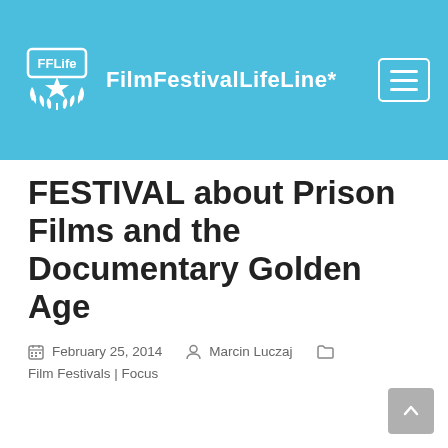FilmFestivalLifeLine*
FESTIVAL about Prison Films and the Documentary Golden Age
February 25, 2014  Marcin Luczaj  Film Festivals | Focus